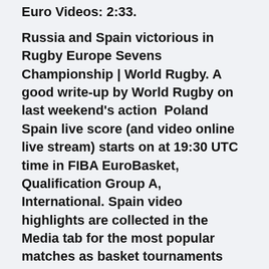Euro Videos: 2:33.
Russia and Spain victorious in Rugby Europe Sevens Championship | World Rugby. A good write-up by World Rugby on last weekend's action  Poland Spain live score (and video online live stream) starts on at 19:30 UTC time in FIBA EuroBasket, Qualification Group A, International. Spain video highlights are collected in the Media tab for the most popular matches as basket tournaments like FIBA Basketball World Cup, Euro Cup and EuroBasket. FIFA World Cup Qualifiers latest match results. Germany 3-0 Iceland; England 5-0 San Marina; Spain 1-1 Greece; Poland 3-3 Hungary. Cristiano Ronaldo in Active International Goal Scorer List · Highlights IND vs BAN Updates EURO 2020: Sourav Ganguly, Cricket Fraternity Wish Denmark's